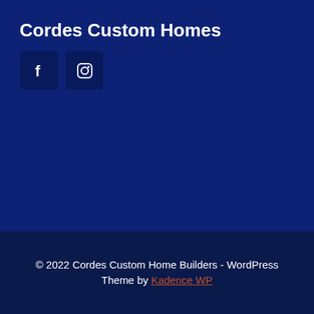Cordes Custom Homes
[Figure (illustration): Two social media icon buttons: Facebook (f icon) and Instagram (camera icon), displayed as dark navy rounded square buttons on a dark blue background.]
© 2022 Cordes Custom Home Builders - WordPress Theme by Kadence WP